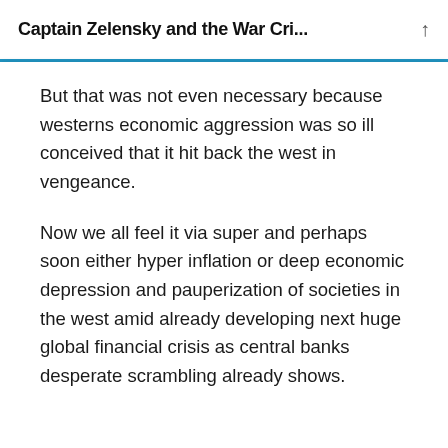Captain Zelensky and the War Cri...
But that was not even necessary because westerns economic aggression was so ill conceived that it hit back the west in vengeance.
Now we all feel it via super and perhaps soon either hyper inflation or deep economic depression and pauperization of societies in the west amid already developing next huge global financial crisis as central banks desperate scrambling already shows.